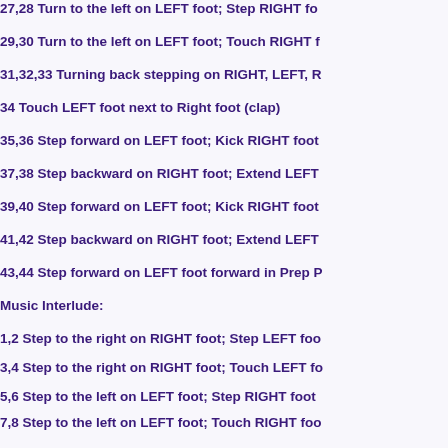27,28 Turn to the left on LEFT foot; Step RIGHT fo…
29,30 Turn to the left on LEFT foot; Touch RIGHT f…
31,32,33 Turning back stepping on RIGHT, LEFT, R…
34 Touch LEFT foot next to Right foot (clap)
35,36 Step forward on LEFT foot; Kick RIGHT foot…
37,38 Step backward on RIGHT foot; Extend LEFT…
39,40 Step forward on LEFT foot; Kick RIGHT foot…
41,42 Step backward on RIGHT foot; Extend LEFT…
43,44 Step forward on LEFT foot forward in Prep P…
Music Interlude:
1,2 Step to the right on RIGHT foot; Step LEFT foo…
3,4 Step to the right on RIGHT foot; Touch LEFT fo…
5,6 Step to the left on LEFT foot; Step RIGHT foot …
7,8 Step to the left on LEFT foot; Touch RIGHT foo…
9,10,11 Walk back stepping on RIGHT, LEFT, RIGHT…
12 Touch LEFT foot next to Right foot (clap)
13,14 Step forward on LEFT foot; Touch RIGHT…